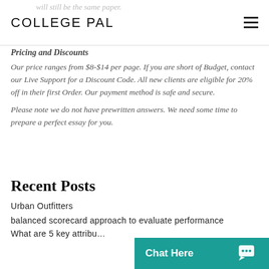COLLEGE PAL
Pricing and Discounts
Our price ranges from $8-$14 per page. If you are short of Budget, contact our Live Support for a Discount Code. All new clients are eligible for 20% off in their first Order. Our payment method is safe and secure.
Please note we do not have prewritten answers. We need some time to prepare a perfect essay for you.
Recent Posts
Urban Outfitters
balanced scorecard approach to evaluate performance
What are 5 key attribu…